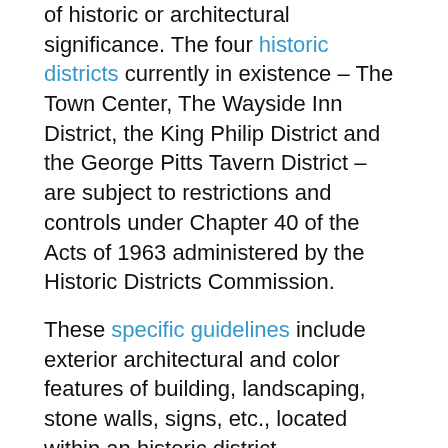of historic or architectural significance. The four historic districts currently in existence – The Town Center, The Wayside Inn District, the King Philip District and the George Pitts Tavern District – are subject to restrictions and controls under Chapter 40 of the Acts of 1963 administered by the Historic Districts Commission.
These specific guidelines include exterior architectural and color features of building, landscaping, stone walls, signs, etc., located within an historic district.
The Historic Districts Commission consists of five members who are appointed by the Select Board:
One (1) registered architect (if none available, a person the Select Board deems qualified)
Three (3) registered voters living in the a Historic District (if possible)
One (1) (of two (2) nominees) by the Historical